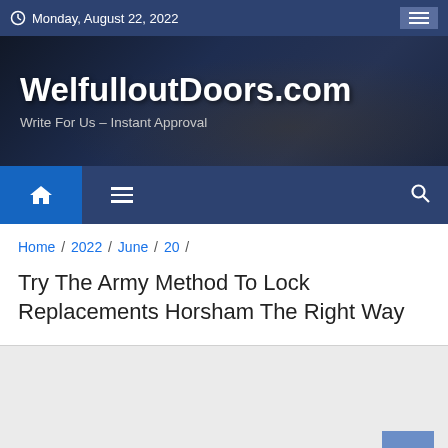Monday, August 22, 2022
WelfulloutDoors.com
Write For Us – Instant Approval
Home / 2022 / June / 20 /
Try The Army Method To Lock Replacements Horsham The Right Way